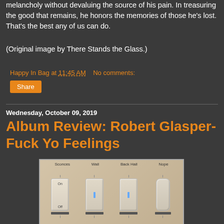melancholy without devaluing the source of his pain. In treasuring the good that remains, he honors the memories of those he's lost. That's the best any of us can do.
(Original image by There Stands the Glass.)
Happy In Bag at 11:45 AM   No comments:
Share
Wednesday, October 09, 2019
Album Review: Robert Glasper- Fuck Yo Feelings
[Figure (photo): Photo of a light switch panel with four switches labeled Sconces, Wall, Back Hall, and Nope. The leftmost switch shows On and Off labels and appears to be a rocker-style switch.]